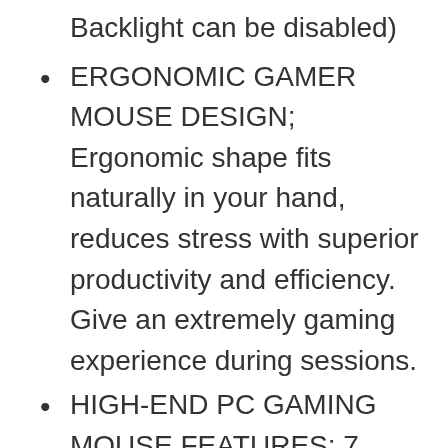Backlight can be disabled)
ERGONOMIC GAMER MOUSE DESIGN; Ergonomic shape fits naturally in your hand, reduces stress with superior productivity and efficiency. Give an extremely gaming experience during sessions.
HIGH-END PC GAMING MOUSE FEATURES; 7 Mouse Buttons PLUS 12 MMO programmable side buttons. Total 19 buttons. Fire button, Pulsing Breathing light color modes. Durable smooth